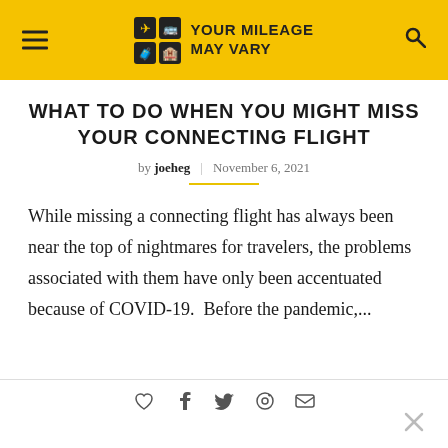YOUR MILEAGE MAY VARY
WHAT TO DO WHEN YOU MIGHT MISS YOUR CONNECTING FLIGHT
by joeheg | November 6, 2021
While missing a connecting flight has always been near the top of nightmares for travelers, the problems associated with them have only been accentuated because of COVID-19.  Before the pandemic,...